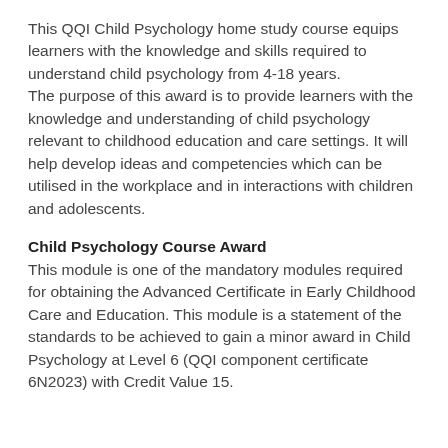This QQI Child Psychology home study course equips learners with the knowledge and skills required to understand child psychology from 4-18 years. The purpose of this award is to provide learners with the knowledge and understanding of child psychology relevant to childhood education and care settings. It will help develop ideas and competencies which can be utilised in the workplace and in interactions with children and adolescents.
Child Psychology Course Award
This module is one of the mandatory modules required for obtaining the Advanced Certificate in Early Childhood Care and Education. This module is a statement of the standards to be achieved to gain a minor award in Child Psychology at Level 6 (QQI component certificate 6N2023) with Credit Value 15.